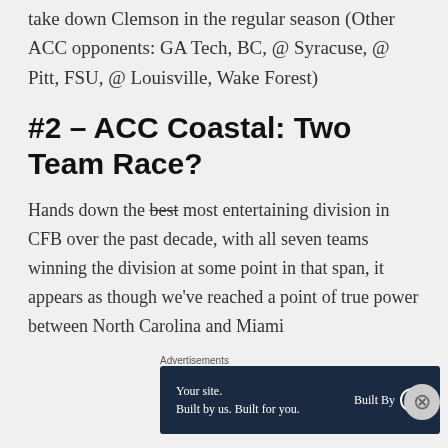take down Clemson in the regular season (Other ACC opponents: GA Tech, BC, @ Syracuse, @ Pitt, FSU, @ Louisville, Wake Forest)
#2 – ACC Coastal: Two Team Race?
Hands down the best most entertaining division in CFB over the past decade, with all seven teams winning the division at some point in that span, it appears as though we've reached a point of true power between North Carolina and Miami
Advertisements
[Figure (other): WordPress advertisement banner: 'Your site. Built by us. Built for you.' with Built By WordPress logo]